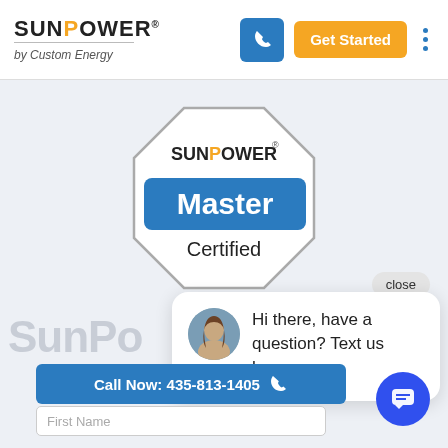[Figure (logo): SunPower by Custom Energy logo with horizontal divider line]
[Figure (illustration): SunPower Master Certified badge — octagonal shape with blue banner reading Master and text Certified below]
close
[Figure (screenshot): Chat popup with female avatar and text: Hi there, have a question? Text us here.]
SunPo
Call Now: 435-813-1405
[Figure (illustration): Blue circular chat FAB button with message icon]
First Name